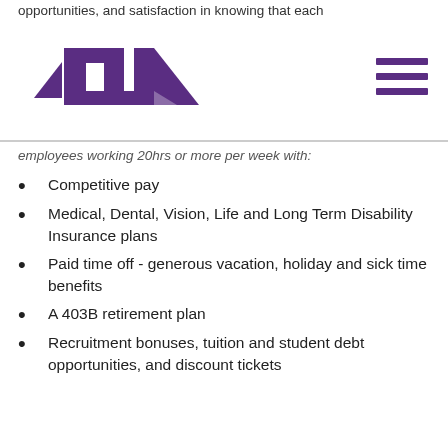opportunities, and satisfaction in knowing that each
[Figure (logo): Purple HLL or TILL logo with geometric shapes resembling buildings or letters]
employees working 20hrs or more per week with:
Competitive pay
Medical, Dental, Vision, Life and Long Term Disability Insurance plans
Paid time off - generous vacation, holiday and sick time benefits
A 403B retirement plan
Recruitment bonuses, tuition and student debt opportunities, and discount tickets